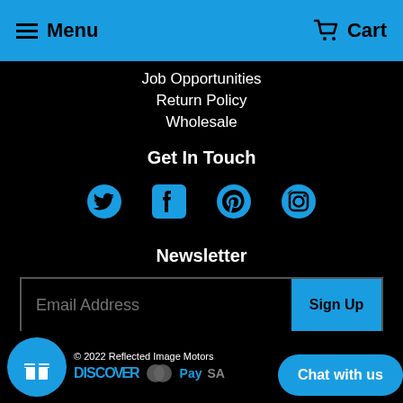Menu  Cart
Job Opportunities
Return Policy
Wholesale
Get In Touch
[Figure (illustration): Social media icons: Twitter, Facebook, Pinterest, Instagram in blue]
Newsletter
Email Address  Sign Up
© 2022 Reflected Image Motors  DISCOVER  MasterCard  PayPal  VISA  Chat with us